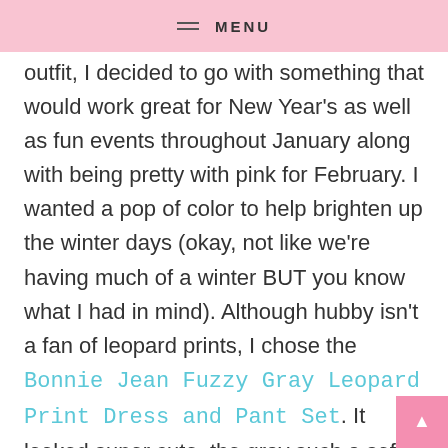MENU
outfit, I decided to go with something that would work great for New Year's as well as fun events throughout January along with being pretty with pink for February. I wanted a pop of color to help brighten up the winter days (okay, not like we're having much of a winter BUT you know what I had in mind). Although hubby isn't a fan of leopard prints, I chose the Bonnie Jean Fuzzy Gray Leopard Print Dress and Pant Set. It looked super cute, the gray such a soft pretty color and I love the pop of pink in the flowers. I went with the 3T